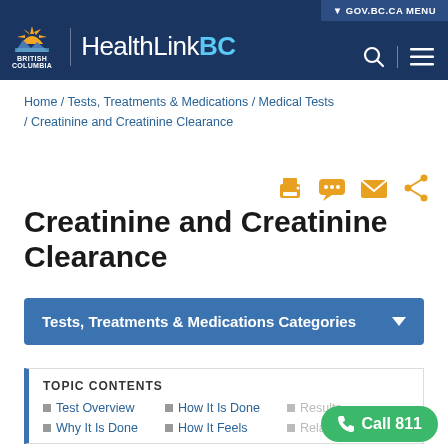HealthLinkBC — British Columbia Government Health Website
Home / Tests, Treatments & Medications / Medical Tests / Creatinine and Creatinine Clearance
Creatinine and Creatinine Clearance
Tests, Treatments & Medications Categories
TOPIC CONTENTS
Test Overview
How It Is Done
Results
Why It Is Done
How It Feels
Related...